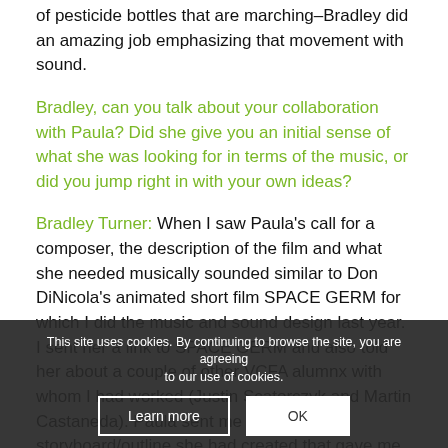of pesticide bottles that are marching–Bradley did an amazing job emphasizing that movement with sound.
Bradley, can you talk about your collaboration with Paula? Did she give you an initial sense of what she was looking for in terms of the music, or did you jump right in with your own ideas?
Bradley Turner: When I saw Paula's call for a composer, the description of the film and what she needed musically sounded similar to Don DiNicola's animated short film SPACE GERM for which I did the music and sound design last year. I sent her a link to SPACE GERM and also told her about a couple of other VCFA alumnx with whom I had worked (Justin Scatorczyk and Martin Castaneda). Paula sent me a rough storyboard/outline she had created that gave me a sense of the story with a few mentions of where there need to be musical cues. This gave me a good idea...
This site uses cookies. By continuing to browse the site, you are agreeing to our use of cookies.